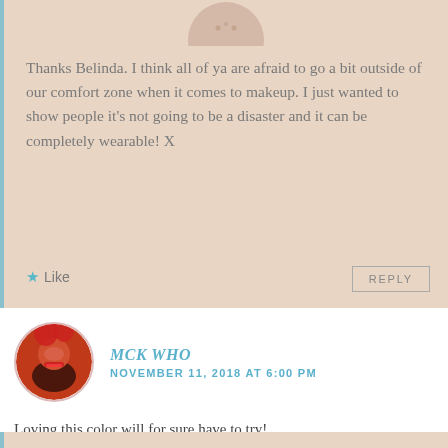Thanks Belinda. I think all of ya are afraid to go a bit outside of our comfort zone when it comes to makeup. I just wanted to show people it’s not going to be a disaster and it can be completely wearable! X
Like
REPLY
MCK WHO
NOVEMBER 11, 2018 AT 6:00 PM
Loving this color will for sure have to try!
Like
REPLY